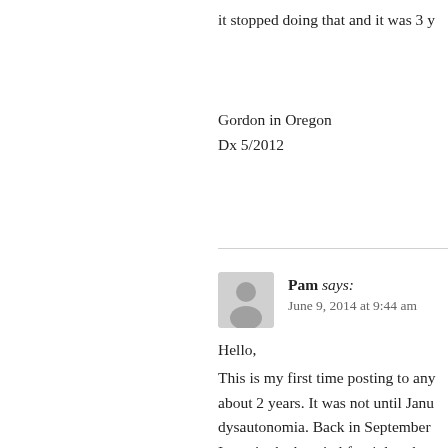it stopped doing that and it was 3 y
Gordon in Oregon
Dx 5/2012
Pam says:
June 9, 2014 at 9:44 am
Hello,
This is my first time posting to any about 2 years. It was not until Janu dysautonomia. Back in September I was in the hospital for 4 days bec was running 40/60. They did all ty on florticotisone and sent me to my did my BP lying and sitting and sa put me on anti anxiety. I the ended